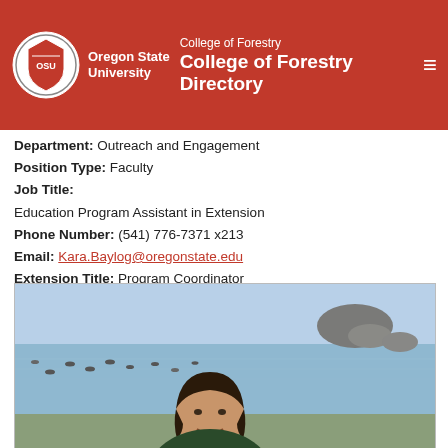College of Forestry | College of Forestry Directory
Department: Outreach and Engagement
Position Type: Faculty
Job Title: Education Program Assistant in Extension
Phone Number: (541) 776-7371 x213
Email: Kara.Baylog@oregonstate.edu
Extension Title: Program Coordinator
Counties Served (OSU Extension): Jackson
[Figure (photo): Profile photo of a woman outdoors near the ocean with rocky outcroppings in the background]